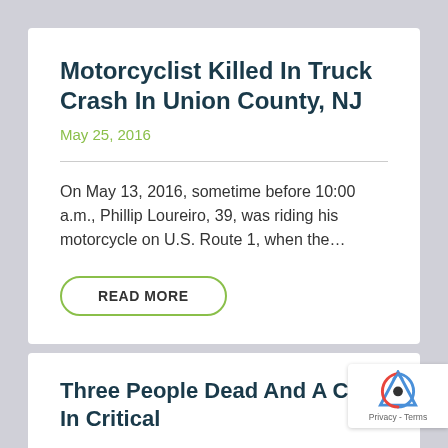Motorcyclist Killed In Truck Crash In Union County, NJ
May 25, 2016
On May 13, 2016, sometime before 10:00 a.m., Phillip Loureiro, 39, was riding his motorcycle on U.S. Route 1, when the…
READ MORE
Three People Dead And A Child In Critical